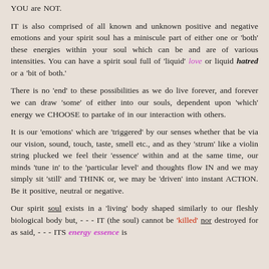YOU are NOT.
IT is also comprised of all known and unknown positive and negative emotions and your spirit soul has a miniscule part of either one or 'both' these energies within your soul which can be and are of various intensities. You can have a spirit soul full of 'liquid' love or liquid hatred or a 'bit of both.'
There is no 'end' to these possibilities as we do live forever, and forever we can draw 'some' of either into our souls, dependent upon 'which' energy we CHOOSE to partake of in our interaction with others.
It is our 'emotions' which are 'triggered' by our senses whether that be via our vision, sound, touch, taste, smell etc., and as they 'strum' like a violin string plucked we feel their 'essence' within and at the same time, our minds 'tune in' to the 'particular level' and thoughts flow IN and we may simply sit 'still' and THINK or, we may be 'driven' into instant ACTION. Be it positive, neutral or negative.
Our spirit soul exists in a 'living' body shaped similarly to our fleshly biological body but, - - - IT (the soul) cannot be 'killed' nor destroyed for as said, - - - ITS energy essence is